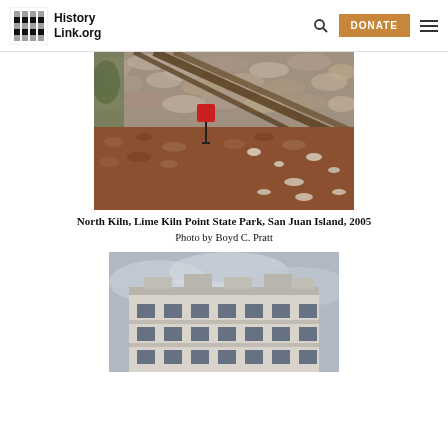HistoryLink.org
[Figure (photo): North Kiln at Lime Kiln Point State Park, San Juan Island, 2005. Shows stone kiln wall, fallen timber, red sign, and hillside covered in reddish leaves and white limestone debris.]
North Kiln, Lime Kiln Point State Park, San Juan Island, 2005
Photo by Boyd C. Pratt
[Figure (photo): Exterior of a multi-story building with flat roof and windows, photographed under cloudy skies.]